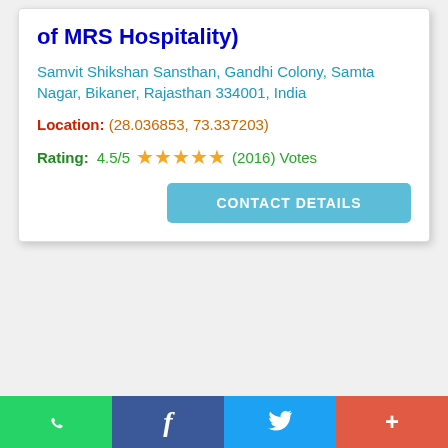of MRS Hospitality)
Samvit Shikshan Sansthan, Gandhi Colony, Samta Nagar, Bikaner, Rajasthan 334001, India
Location: (28.036853, 73.337203)
Rating: 4.5/5 ★★★★★ (2016) Votes
[Figure (other): CONTACT DETAILS button (teal/cyan rounded rectangle)]
WhatsApp share | Facebook share | Twitter share | More share options